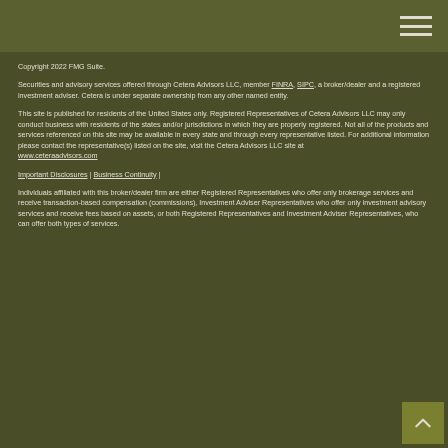Copyright 2022 FMG Suite.
Securities and advisory services offered through Cetera Advisors LLC, member FINRA, SIPC, a broker/dealer and a registered investment adviser. Cetera is under separate ownership from any other named entity.
This site is published for residents of the United States only. Registered Representatives of Cetera Advisors LLC may only conduct business with residents of the states and/or jurisdictions in which they are properly registered. Not all of the products and services referenced on this site may be available in every state and through every representative listed. For additional information please contact the representative(s) listed on the site, visit the Cetera Advisors LLC site at www.ceteraadvisors.com
Important Disclosures | Business Continuity |
Individuals affiliated with this broker/dealer firm are either Registered Representatives who offer only brokerage services and receive transaction-based compensation (commissions), Investment Adviser Representatives who offer only investment advisory services and receive fees based on assets, or both Registered Representatives and Investment Adviser Representatives, who can offer both types of services.